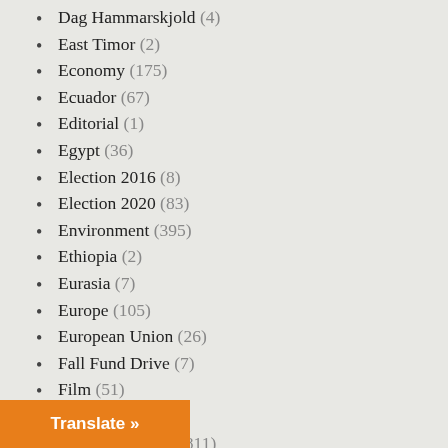Dag Hammarskjold (4)
East Timor (2)
Economy (175)
Ecuador (67)
Editorial (1)
Egypt (36)
Election 2016 (8)
Election 2020 (83)
Environment (395)
Ethiopia (2)
Eurasia (7)
Europe (105)
European Union (26)
Fall Fund Drive (7)
Film (51)
Finland (2)
Foreign Policy (2,811)
France (79)
Translate »